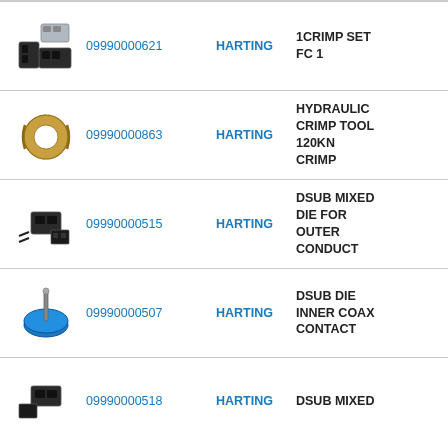| Image | Part Number | Brand | Description |
| --- | --- | --- | --- |
| [image] | 09990000621 | HARTING | 1CRIMP SET FC 1 |
| [image] | 09990000863 | HARTING | HYDRAULIC CRIMP TOOL 120KN CRIMP |
| [image] | 09990000515 | HARTING | DSUB MIXED DIE FOR OUTER CONDUCT |
| [image] | 09990000507 | HARTING | DSUB DIE INNER COAX CONTACT |
| [image] | 09990000518 | HARTING | DSUB MIXED |